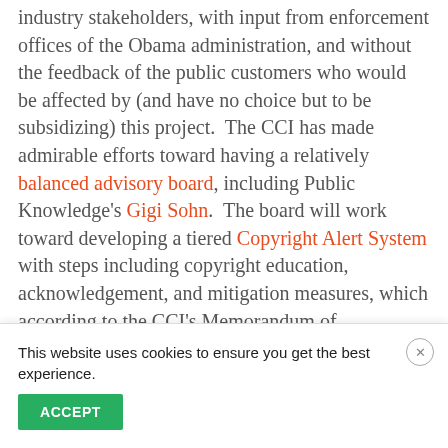industry stakeholders, with input from enforcement offices of the Obama administration, and without the feedback of the public customers who would be affected by (and have no choice but to be subsidizing) this project.  The CCI has made admirable efforts toward having a relatively balanced advisory board, including Public Knowledge's Gigi Sohn.  The board will work toward developing a tiered Copyright Alert System with steps including copyright education, acknowledgement, and mitigation measures, which according to the CCI's Memorandum of
This website uses cookies to ensure you get the best experience.